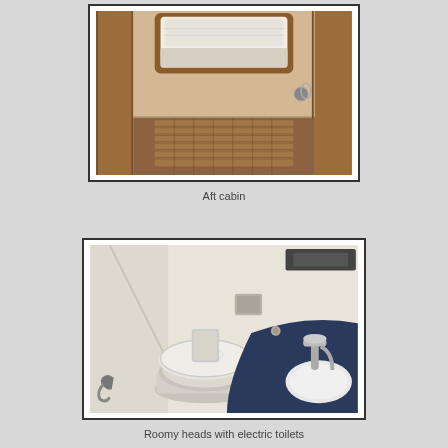[Figure (photo): Interior photo of an aft cabin on a boat, showing wooden teak floor slats, warm brown wood paneling on the walls, a small hatch/window at the top with white padding, and a metal handle on the right door panel.]
Aft cabin
[Figure (photo): Interior photo of a boat heads (bathroom), showing a white marine toilet with lid down on the left, a dark navy/black curved countertop with a white sink and chrome faucet on the right, cream/off-white fiberglass walls, and a small shelf/bracket on the back wall.]
Roomy heads with electric toilets